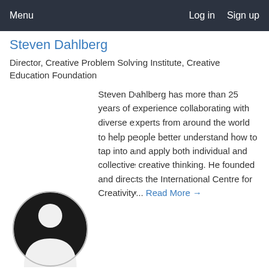Menu   Log in   Sign up
Steven Dahlberg
Director, Creative Problem Solving Institute, Creative Education Foundation
Steven Dahlberg has more than 25 years of experience collaborating with diverse experts from around the world to help people better understand how to tap into and apply both individual and collective creative thinking. He founded and directs the International Centre for Creativity... Read More →
[Figure (illustration): Circular avatar placeholder with silhouette of a person, dark background with white figure outline]